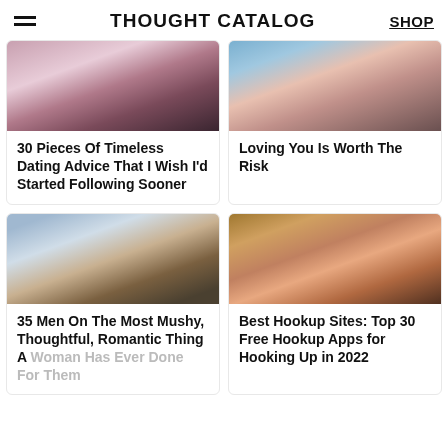THOUGHT CATALOG  SHOP
[Figure (photo): Photo of a woman with dark curly hair, possibly in a wedding dress]
30 Pieces Of Timeless Dating Advice That I Wish I'd Started Following Sooner
[Figure (photo): Photo of a smiling Asian woman with another person]
Loving You Is Worth The Risk
[Figure (photo): Photo of a couple outdoors, woman with curly hair laughing]
35 Men On The Most Mushy, Thoughtful, Romantic Thing A Woman Has Ever Done For Them
[Figure (photo): Photo of a couple at a bar, woman smiling and holding a cup]
Best Hookup Sites: Top 30 Free Hookup Apps for Hooking Up in 2022